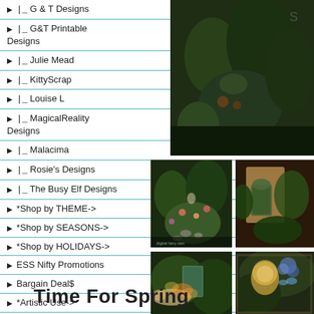▶ |_ G & T Designs
▶ |_ G&T Printable Designs
▶ |_ Julie Mead
▶ |_ KittyScrap
▶ |_ Louise L
▶ |_ MagicalReality Designs
▶ |_ Malacima
▶ |_ Rosie's Designs
▶ |_ The Busy Elf Designs
▶ *Shop by THEME->
▶ *Shop by SEASONS->
▶ *Shop by HOLIDAYS->
▶ ESS Nifty Promotions
▶ Bargain Deal$
▶ *Artistic Use->
▶ *Commercial Use->
▶ *Embellishments->
▶ *Printables->
▶ *S4O/S4Hire->
▶ *Scrapbook Kits->
[Figure (photo): Dark green garden/fairy scene photo at top right]
[Figure (photo): Fairy garden with flowers and stones - mid left]
[Figure (photo): Fairy door in garden scene - mid right (partial)]
[Figure (photo): Fairy lying near blue door in garden - bottom left]
[Figure (photo): Blonde fairy with butterfly and flowers - bottom right (partial)]
Time For Spring